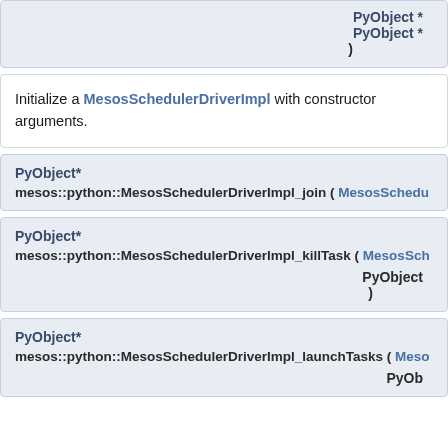PyObject *
PyObject *
)
Initialize a MesosSchedulerDriverImpl with constructor arguments.
PyObject*
mesos::python::MesosSchedulerDriverImpl_join ( MesosSchedu...
PyObject*
mesos::python::MesosSchedulerDriverImpl_killTask ( MesosSch...
PyObject
)
PyObject*
mesos::python::MesosSchedulerDriverImpl_launchTasks ( Meso...
PyOb...